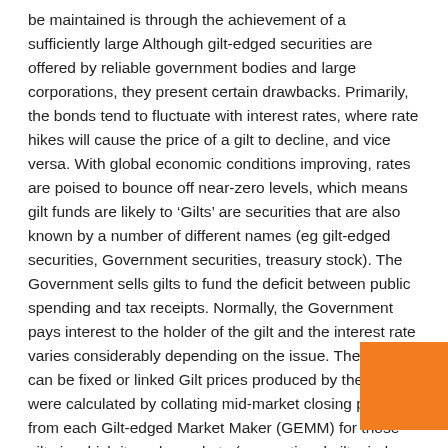be maintained is through the achievement of a sufficiently large Although gilt-edged securities are offered by reliable government bodies and large corporations, they present certain drawbacks. Primarily, the bonds tend to fluctuate with interest rates, where rate hikes will cause the price of a gilt to decline, and vice versa. With global economic conditions improving, rates are poised to bounce off near-zero levels, which means gilt funds are likely to ‘Gilts’ are securities that are also known by a number of different names (eg gilt-edged securities, Government securities, treasury stock). The Government sells gilts to fund the deficit between public spending and tax receipts. Normally, the Government pays interest to the holder of the gilt and the interest rate varies considerably depending on the issue. The rate can be fixed or linked Gilt prices produced by the DMO were calculated by collating mid-market closing prices from each Gilt-edged Market Maker (GEMM) for those gilts in which it made markets (conventional gilts, index-linked gilts, or both, with the exc of rump gilts and STRIPS).
[Figure (other): Orange rectangle decorative element in bottom-right corner]